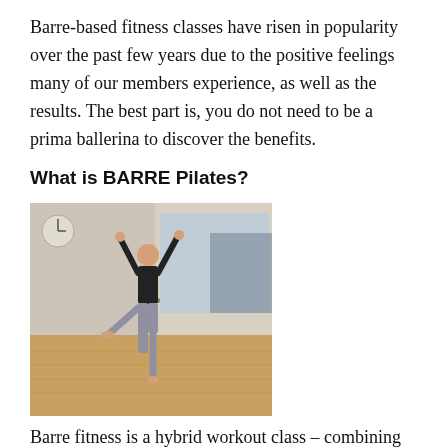Barre-based fitness classes have risen in popularity over the past few years due to the positive feelings many of our members experience, as well as the results. The best part is, you do not need to be a prima ballerina to discover the benefits.
What is BARRE Pilates?
[Figure (photo): A person standing on one leg with arms raised in a ballet/barre pose inside a studio with wooden floors and a barre along the wall.]
Barre fitness is a hybrid workout class – combining ballet-inspired moves with elements of Pilates, dance, yoga and strength training. Most classes incorporate a